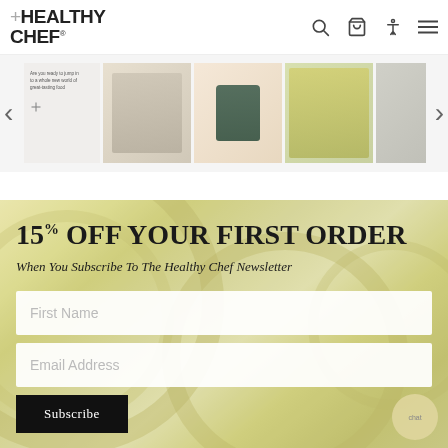[Figure (screenshot): Healthy Chef website screenshot showing navigation bar with logo, icons, a product carousel, and a newsletter subscription promo banner offering 15% off first order]
+HEALTHY CHEF
[Figure (photo): Carousel of product images including supplements and food items]
15% OFF YOUR FIRST ORDER
When You Subscribe To The Healthy Chef Newsletter
First Name
Email Address
Subscribe